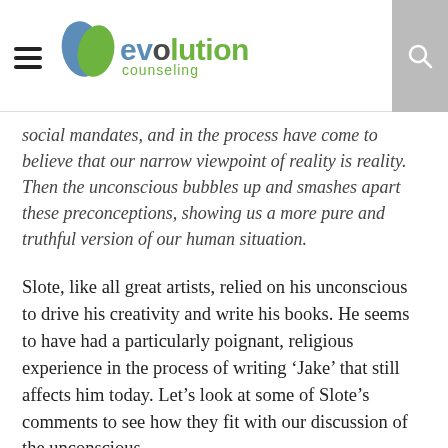evolution counseling
social mandates, and in the process have come to believe that our narrow viewpoint of reality is reality. Then the unconscious bubbles up and smashes apart these preconceptions, showing us a more pure and truthful version of our human situation.
Slote, like all great artists, relied on his unconscious to drive his creativity and write his books. He seems to have had a particularly poignant, religious experience in the process of writing ‘Jake’ that still affects him today. Let’s look at some of Slote’s comments to see how they fit with our discussion of the unconscious.
While talking about writing his masterpiece he says “It wrote itself from page one because the kid was real. ‘My name is Jake Rather. It probably doesn’t mean that  much to you and it doesn’t mean that much to me.’ When I wrote that line the kid took over the book.” He goes on to say a little later in the interview “When